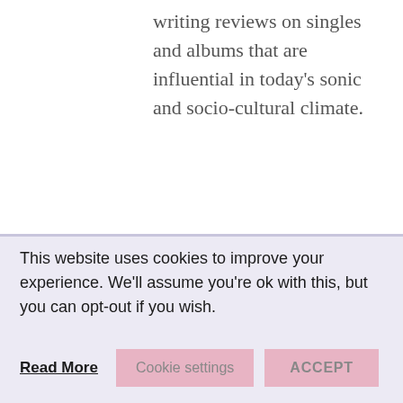writing reviews on singles and albums that are influential in today's sonic and socio-cultural climate.
See author's posts
Tags:  absrdst,  gimi
This website uses cookies to improve your experience. We'll assume you're ok with this, but you can opt-out if you wish. Read More  Cookie settings  ACCEPT